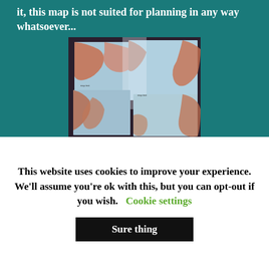it, this map is not suited for planning in any way whatsoever...
[Figure (photo): A photograph showing several map sheets laid out on a dark surface, appearing to show geographic/topographic maps with blue water areas and reddish-orange land areas]
This website uses cookies to improve your experience. We'll assume you're ok with this, but you can opt-out if you wish.
Cookie settings
Sure thing